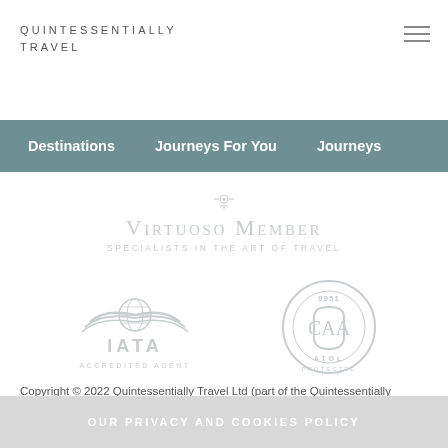QUINTESSENTIALLY TRAVEL
Destinations   Journeys For You   Journeys
[Figure (logo): Virtuoso Member – Specialists in the Art of Travel logo with ornamental flourish]
[Figure (logo): IATA Accredited Agent logo with globe and wings]
[Figure (logo): ATOL Protected 9951 circular badge logo]
Copyright © 2022 Quintessentially Travel Ltd (part of the Quintessentially Group). All rights reserved. For information regarding the manner in which Quintessentially Travel collects, stores and usesyour personal data, please refer to our Privacy Policy.
OUR PRIVACY AND COOKIES POLICY